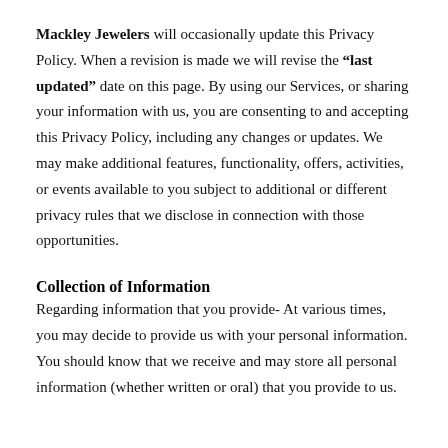Mackley Jewelers will occasionally update this Privacy Policy. When a revision is made we will revise the "last updated" date on this page. By using our Services, or sharing your information with us, you are consenting to and accepting this Privacy Policy, including any changes or updates. We may make additional features, functionality, offers, activities, or events available to you subject to additional or different privacy rules that we disclose in connection with those opportunities.
Collection of Information
Regarding information that you provide- At various times, you may decide to provide us with your personal information. You should know that we receive and may store all personal information (whether written or oral) that you provide to us.